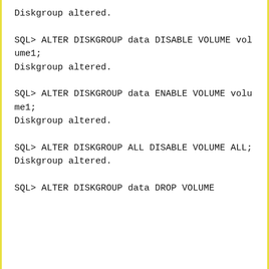Diskgroup altered.
SQL> ALTER DISKGROUP data DISABLE VOLUME volume1;
Diskgroup altered.
SQL> ALTER DISKGROUP data ENABLE VOLUME volume1;
Diskgroup altered.
SQL> ALTER DISKGROUP ALL DISABLE VOLUME ALL;
Diskgroup altered.
SQL> ALTER DISKGROUP data DROP VOLUME